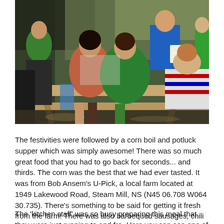[Figure (photo): Outdoor group gathering at picnic tables. Several people seated with backs to camera, wearing green and colorful shirts. A man in a blue shirt stands holding papers, appearing to speak to the group. Sunny summer day setting with trees in background.]
The festivities were followed by a corn boil and potluck supper which was simply awesome! There was so much great food that you had to go back for seconds... and thirds. The corn was the best that we had ever tasted. It was from Bob Ansem's U-Pick, a local farm located at 1949 Lakewood Road, Steam Mill, NS (N45 06.708 W064 30.735). There's something to be said for getting it fresh from the farm! There was also barbequed sausages, chili and rolls, salads, cold meats, mussels and a whole slew of desserts!
The 'kitchen staff' was so busy preparing this meal that they were just running to and fro. Here you can see one of them moving so